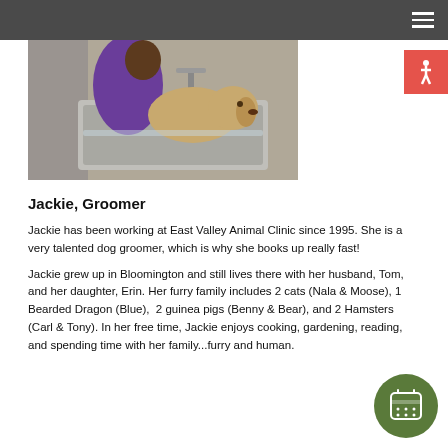Navigation bar with hamburger menu
[Figure (photo): A person in a purple shirt bathing/grooming a golden Labrador dog in a metal grooming sink with a faucet visible in the background.]
Jackie, Groomer
Jackie has been working at East Valley Animal Clinic since 1995. She is a very talented dog groomer, which is why she books up really fast!
Jackie grew up in Bloomington and still lives there with her husband, Tom, and her daughter, Erin. Her furry family includes 2 cats (Nala & Moose), 1 Bearded Dragon (Blue),  2 guinea pigs (Benny & Bear), and 2 Hamsters (Carl & Tony). In her free time, Jackie enjoys cooking, gardening, reading, and spending time with her family...furry and human.